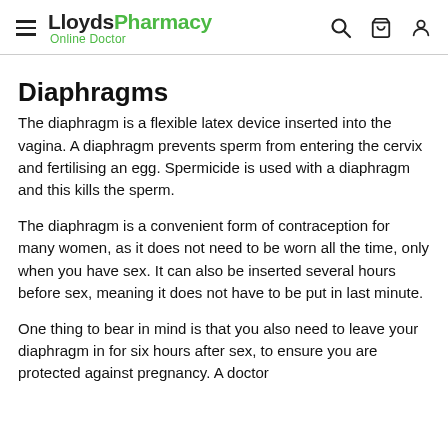LloydsPharmacy Online Doctor
Diaphragms
The diaphragm is a flexible latex device inserted into the vagina. A diaphragm prevents sperm from entering the cervix and fertilising an egg. Spermicide is used with a diaphragm and this kills the sperm.
The diaphragm is a convenient form of contraception for many women, as it does not need to be worn all the time, only when you have sex. It can also be inserted several hours before sex, meaning it does not have to be put in last minute.
One thing to bear in mind is that you also need to leave your diaphragm in for six hours after sex, to ensure you are protected against pregnancy. A doctor